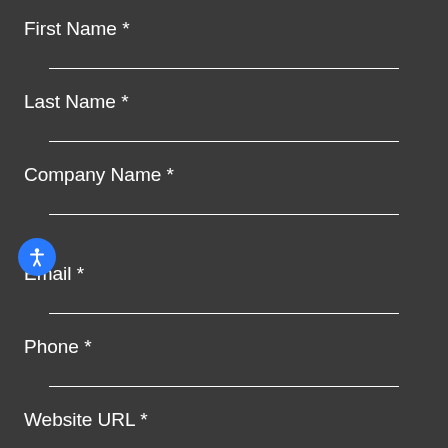First Name *
Last Name *
Company Name *
Email *
Phone *
Website URL *